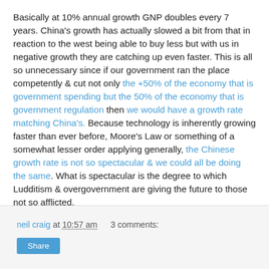Basically at 10% annual growth GNP doubles every 7 years. China's growth has actually slowed a bit from that in reaction to the west being able to buy less but with us in negative growth they are catching up even faster. This is all so unnecessary since if our government ran the place competently & cut not only the +50% of the economy that is government spending but the 50% of the economy that is government regulation then we would have a growth rate matching China's. Because technology is inherently growing faster than ever before, Moore's Law or something of a somewhat lesser order applying generally, the Chinese growth rate is not so spectacular & we could all be doing the same. What is spectacular is the degree to which Ludditism & overgovernment are giving the future to those not so afflicted.
neil craig at 10:57 am   3 comments:
Share